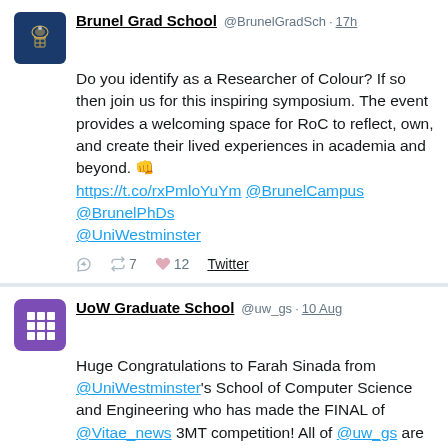[Figure (screenshot): Tweet from Brunel Grad School with avatar showing university crest on dark blue background]
Brunel Grad School @BrunelGradSch · 17h
Do you identify as a Researcher of Colour? If so then join us for this inspiring symposium. The event provides a welcoming space for RoC to reflect, own, and create their lived experiences in academia and beyond. 👊 https://t.co/rxPmloYuYm @BrunelCampus @BrunelPhDs @UniWestminster
[Figure (screenshot): Tweet from UoW Graduate School with purple grid icon avatar]
UoW Graduate School @uw_gs · 10 Aug
Huge Congratulations to Farah Sinada from @UniWestminster's School of Computer Science and Engineering who has made the FINAL of @Vitae_news 3MT competition! All of @uw_gs are wishing Farah the best of luck with preparations for the final on 15 September! Go Farah!
Vitae @Vitae_news